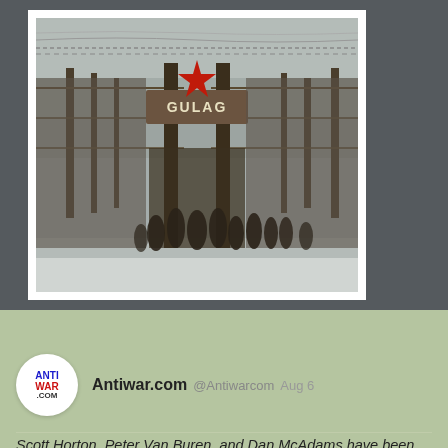[Figure (photo): A photograph showing a gulag entrance gate with a red star and 'GULAG' sign, barbed wire fencing, and figures in dark clothing standing in a snowy outdoor setting under overcast skies.]
Antiwar.com @Antiwarcom Aug 6
Scott Horton, Peter Van Buren, and Dan McAdams have been